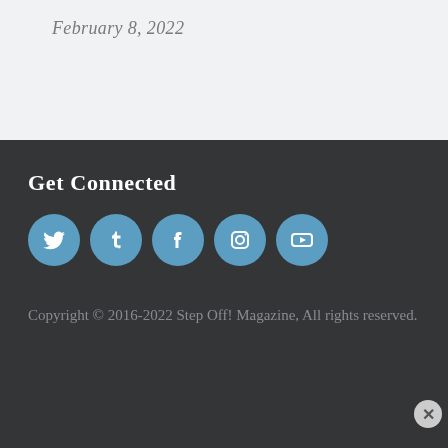February 8, 2022
Get Connected
[Figure (other): Row of five social media icon circles (Twitter, Tumblr, Facebook, Instagram, YouTube) in blue on dark background]
Copyright © 2016-2022 Step Off! Magazine, All rights reserved.
Advertisements
[Figure (other): DuckDuckGo advertisement banner: orange left side reading 'Search, browse, and email with more privacy. All in One Free App', black right side with DuckDuckGo logo and text]